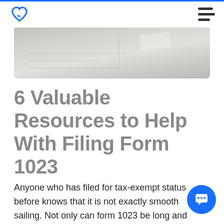Navigation bar with logo and hamburger menu
[Figure (photo): Partial view of a paper form or ledger sheet, light gray tones, top portion visible]
6 Valuable Resources to Help With Filing Form 1023
Anyone who has filed for tax-exempt status before knows that it is not exactly smooth sailing. Not only can form 1023 be long and complicated but if not accepted the first time